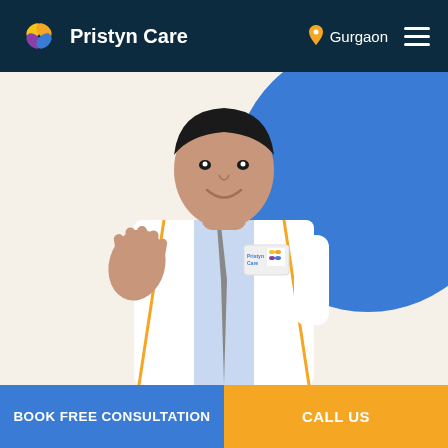Pristyn Care — Gurgaon
[Figure (photo): Doctor in white coat with Pristyn Care logo on breast pocket, gesturing with open hand, smiling. Blue circular background element behind him on a cream/beige background.]
BOOK FREE CONSULTATION
CALL US